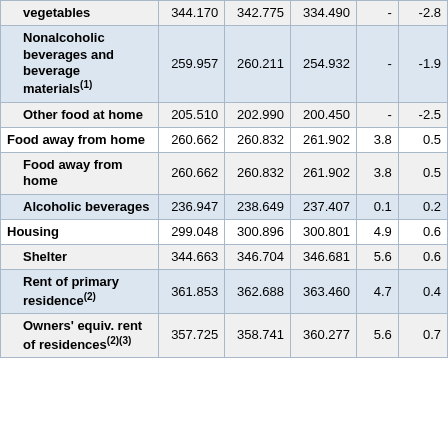| Item | Col1 | Col2 | Col3 | Col4 | Col5 |
| --- | --- | --- | --- | --- | --- |
| vegetables | 344.170 | 342.775 | 334.490 | - | -2.8 |
| Nonalcoholic beverages and beverage materials(1) | 259.957 | 260.211 | 254.932 | - | -1.9 |
| Other food at home | 205.510 | 202.990 | 200.450 | - | -2.5 |
| Food away from home | 260.662 | 260.832 | 261.902 | 3.8 | 0.5 |
| Food away from home | 260.662 | 260.832 | 261.902 | 3.8 | 0.5 |
| Alcoholic beverages | 236.947 | 238.649 | 237.407 | 0.1 | 0.2 |
| Housing | 299.048 | 300.896 | 300.801 | 4.9 | 0.6 |
| Shelter | 344.663 | 346.704 | 346.681 | 5.6 | 0.6 |
| Rent of primary residence(2) | 361.853 | 362.688 | 363.460 | 4.7 | 0.4 |
| Owners' equiv. rent of residences(2)(3) | 357.725 | 358.741 | 360.277 | 5.6 | 0.7 |